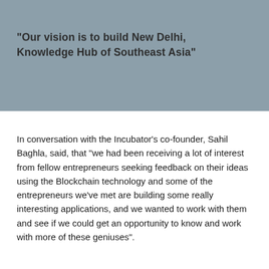"Our vision is to build New Delhi, Knowledge Hub of Southeast Asia"
In conversation with the Incubator’s co-founder, Sahil Baghla, said, that "we had been receiving a lot of interest from fellow entrepreneurs seeking feedback on their ideas using the Blockchain technology and some of the entrepreneurs we’ve met are building some really interesting applications, and we wanted to work with them and see if we could get an opportunity to know and work with more of these geniuses".